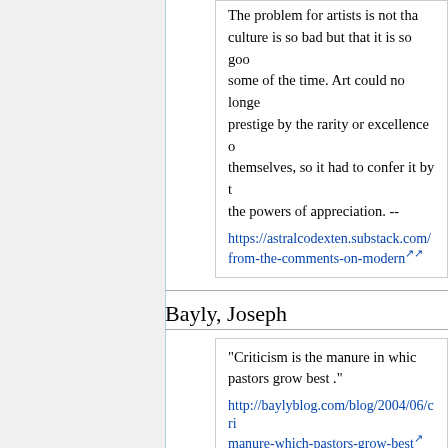The problem for artists is not that culture is so bad but that it is so good some of the time. Art could no longer prestige by the rarity or excellence of themselves, so it had to confer it by the powers of appreciation. -- https://astralcodexten.substack.com/from-the-comments-on-modern
Bayly, Joseph
"Criticism is the manure in which pastors grow best ." http://baylyblog.com/blog/2004/06/cri manure-which-pastors-grow-best
Bayly, Timothy